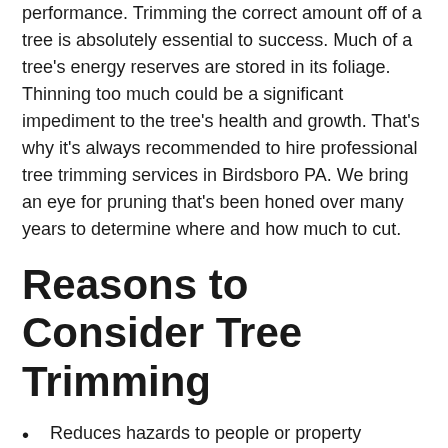performance. Trimming the correct amount off of a tree is absolutely essential to success. Much of a tree's energy reserves are stored in its foliage. Thinning too much could be a significant impediment to the tree's health and growth. That's why it's always recommended to hire professional tree trimming services in Birdsboro PA. We bring an eye for pruning that's been honed over many years to determine where and how much to cut.
Reasons to Consider Tree Trimming
Reduces hazards to people or property
Enhances beauty
Supports strong structure
Prevents damage prior to a storm
Reduces wind resistance
Provides clearance for structures